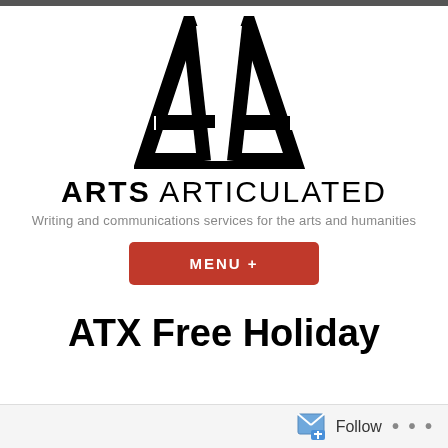[Figure (logo): Arts Articulated logo — a stylized double-A monogram in black, angular geometric letterforms]
ARTS ARTICULATED
Writing and communications services for the arts and humanities
MENU +
ATX Free Holiday
Follow  ...